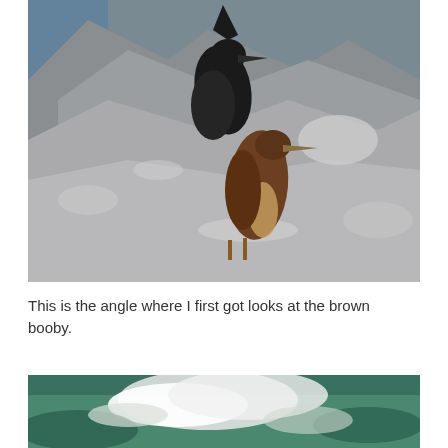[Figure (photo): Two seabirds (brown boobies) perched on rocky coastal cliffs with blue water visible in the background. One bird is dark/black, the other is brown with a white belly and pointed beak.]
This is the angle where I first got looks at the brown booby.
[Figure (photo): Ocean waves with green-blue water and white foam/spray, partially visible at bottom of page.]